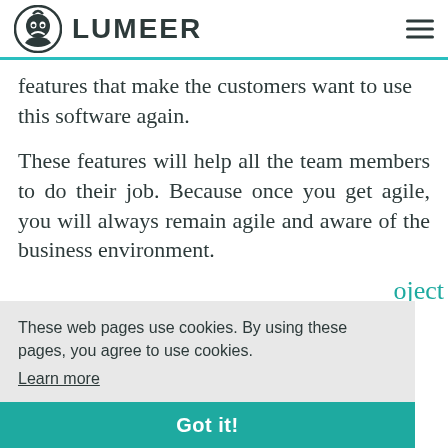LUMEER
features that make the customers want to use this software again.
These features will help all the team members to do their job. Because once you get agile, you will always remain agile and aware of the business environment.
These web pages use cookies. By using these pages, you agree to use cookies. Learn more
Got it!